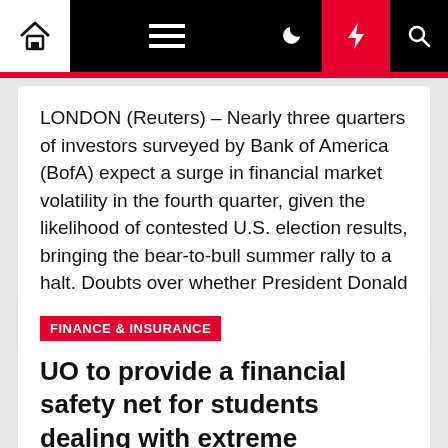Navigation bar with home, menu, dark mode, lightning/breaking news, and search icons
LONDON (Reuters) – Nearly three quarters of investors surveyed by Bank of America (BofA) expect a surge in financial market volatility in the fourth quarter, given the likelihood of contested U.S. election results, bringing the bear-to-bull summer rally to a halt. Doubts over whether President Donald Trump would agree to […]
FINANCE & INSURANCE
UO to provide a financial safety net for students dealing with extreme circumstances, for a